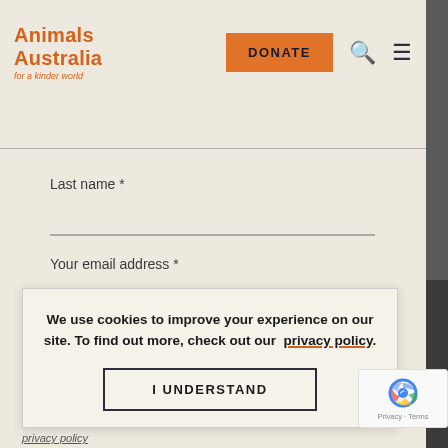Animals Australia — for a kinder world | DONATE
Last name *
Your email address *
We use cookies to improve your experience on our site. To find out more, check out our privacy policy.
I UNDERSTAND
Privacy · Terms
privacy policy